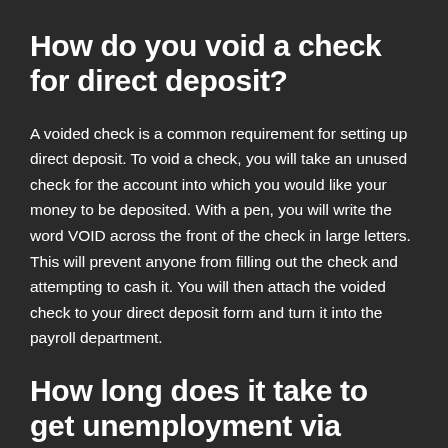How do you void a check for direct deposit?
A voided check is a common requirement for setting up direct deposit. To void a check, you will take an unused check for the account into which you would like your money to be deposited. With a pen, you will write the word VOID across the front of the check in large letters. This will prevent anyone from filling out the check and attempting to cash it. You will then attach the voided check to your direct deposit form and turn it into the payroll department.
How long does it take to get unemployment via direct deposit?